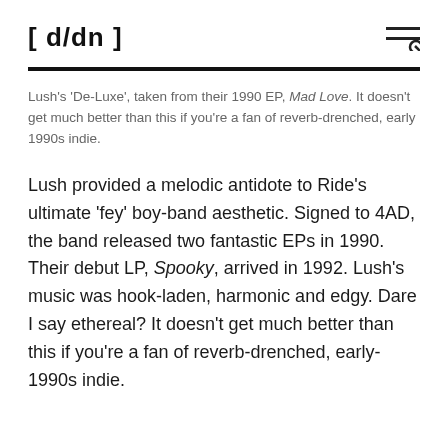[ d/dn ]
Lush's 'De-Luxe', taken from their 1990 EP, Mad Love. It doesn't get much better than this if you're a fan of reverb-drenched, early 1990s indie.
Lush provided a melodic antidote to Ride's ultimate 'fey' boy-band aesthetic. Signed to 4AD, the band released two fantastic EPs in 1990. Their debut LP, Spooky, arrived in 1992. Lush's music was hook-laden, harmonic and edgy. Dare I say ethereal? It doesn't get much better than this if you're a fan of reverb-drenched, early-1990s indie.